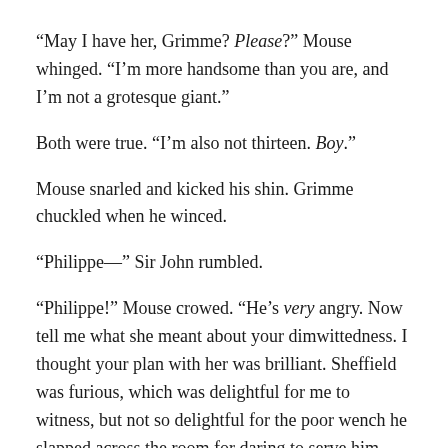“May I have her, Grimme? Please?” Mouse whinged. “I’m more handsome than you are, and I’m not a grotesque giant.”
Both were true. “I’m also not thirteen. Boy.”
Mouse snarled and kicked his shin. Grimme chuckled when he winced.
“Philippe—” Sir John rumbled.
“Philippe!” Mouse crowed. “He’s very angry. Now tell me what she meant about your dimwittedness. I thought your plan with her was brilliant. Sheffield was furious, which was delightful for me to witness, but not so delightful for the poor wench he slapped across the room for daring to serve him what he asked for.”
“He meant to snatch Lady Margaret,” Sir John said.
“Aye, I know that. I just assumed he found a better